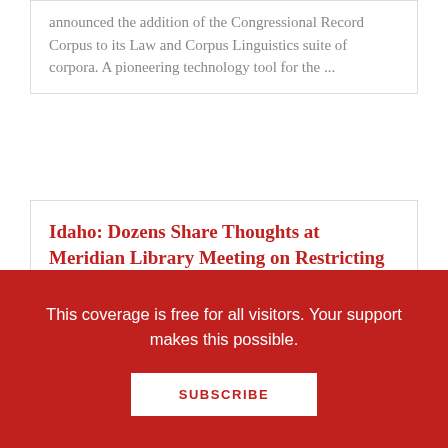announced the addition of the Congressional Record Corpus to its Law and Corpus Linguistics suite of corpora. A pioneering technology tool for the ...
Idaho: Dozens Share Thoughts at Meridian Library Meeting on Restricting Books & Dissolving the District; SAGE Shares Open...
AI in Academic Libraries, Part 1: Areas of Activity, Big Players, and the Automation of Indexing (via ZBW MediaTalk) Dozens Share Thoughts at Meridian Library Meeting on Restricting Books &
This coverage is free for all visitors. Your support makes this possible.
SUBSCRIBE